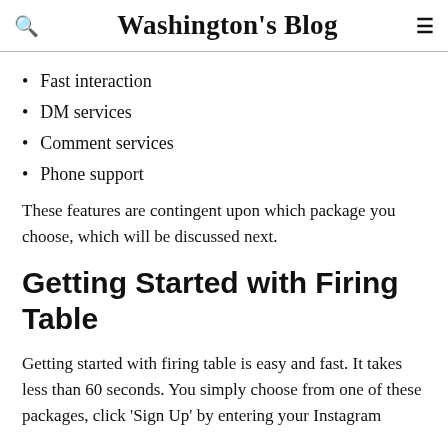Washington's Blog
Fast interaction
DM services
Comment services
Phone support
These features are contingent upon which package you choose, which will be discussed next.
Getting Started with Firing Table
Getting started with firing table is easy and fast. It takes less than 60 seconds. You simply choose from one of these packages, click ‘Sign Up’ by entering your Instagram